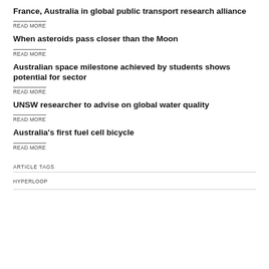France, Australia in global public transport research alliance
READ MORE
When asteroids pass closer than the Moon
READ MORE
Australian space milestone achieved by students shows potential for sector
READ MORE
UNSW researcher to advise on global water quality
READ MORE
Australia's first fuel cell bicycle
READ MORE
ARTICLE TAGS
HYPERLOOP